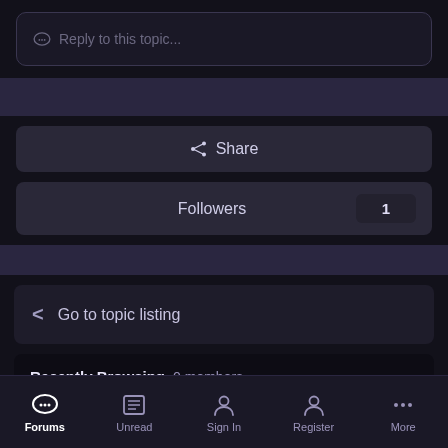Reply to this topic...
Share
Followers  1
Go to topic listing
Recently Browsing  0 members
No registered users viewing this page.
Forums  Unread  Sign In  Register  More